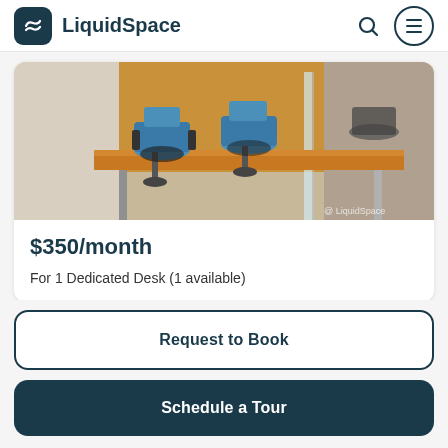LiquidSpace
[Figure (photo): Office workspace photo showing dedicated desks with blue chairs, wooden desk surface, glass partition, and office chairs in background]
$350/month
For 1 Dedicated Desk (1 available)
Request to Book
Schedule a Tour